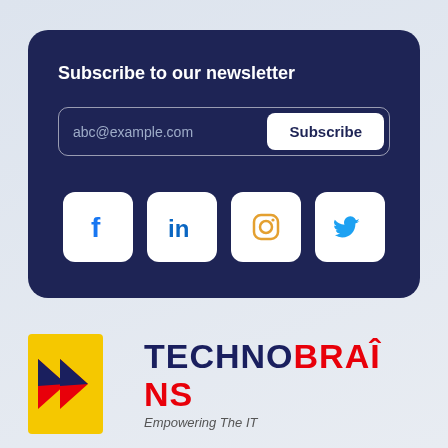Subscribe to our newsletter
[Figure (infographic): Newsletter subscription card with email input placeholder 'abc@example.com', a Subscribe button, and four social media icon buttons: Facebook (f), LinkedIn (in), Instagram (camera icon), Twitter (bird icon). Dark navy background.]
[Figure (logo): TechnoBrains logo: yellow rectangle with red and navy arrow/chevron mark on left, text TECHNOBRAINS with TECHNO in navy and BRAINS in red, tagline 'Empowering The IT' below in grey italic]